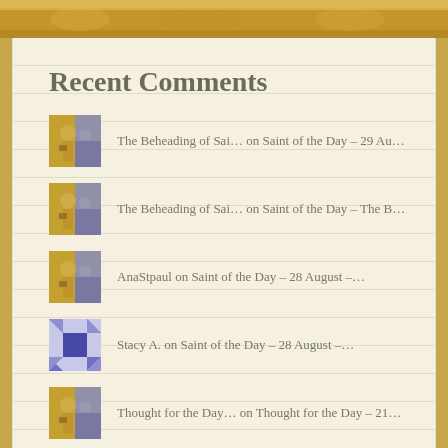Recent Comments
The Beheading of Sai… on Saint of the Day – 29 Au…
The Beheading of Sai… on Saint of the Day – The B…
AnaStpaul on Saint of the Day – 28 August –…
Stacy A. on Saint of the Day – 28 August –…
Thought for the Day… on Thought for the Day – 21…